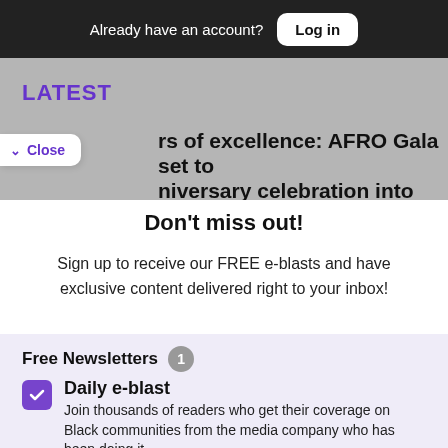Already have an account? Log in
LATEST
rs of excellence: AFRO Gala set to niversary celebration into high gear
Don't miss out!
Sign up to receive our FREE e-blasts and have exclusive content delivered right to your inbox!
Free Newsletters 1
Daily e-blast
Join thousands of readers who get their coverage on Black communities from the media company who has been doing it